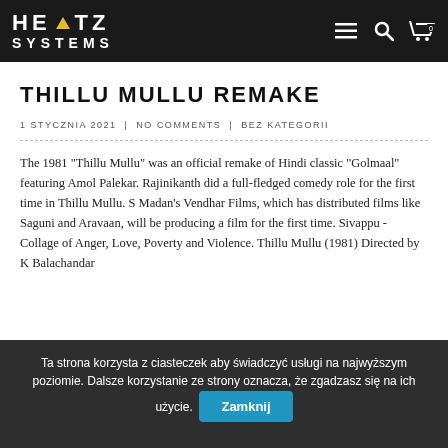HERTZ SYSTEMS
THILLU MULLU REMAKE
1 STYCZNIA 2021 | NO COMMENTS | BEZ KATEGORII
The 1981 "Thillu Mullu" was an official remake of Hindi classic "Golmaal" featuring Amol Palekar. Rajinikanth did a full-fledged comedy role for the first time in Thillu Mullu. S Madan's Vendhar Films, which has distributed films like Saguni and Aravaan, will be producing a film for the first time. Sivappu - Collage of Anger, Love, Poverty and Violence. Thillu Mullu (1981) Directed by K Balachandar
Ta strona korzysta z ciasteczek aby świadczyć usługi na najwyższym poziomie. Dalsze korzystanie ze strony oznacza, że zgadzasz się na ich użycie. Zamknij